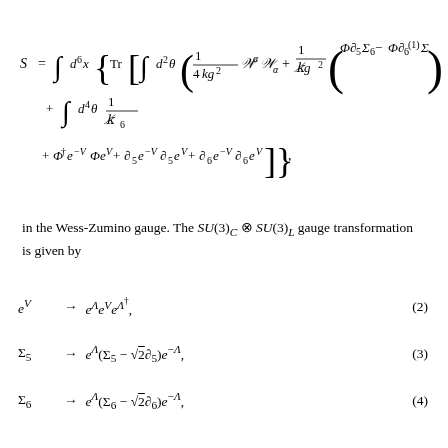in the Wess-Zumino gauge. The SU(3)_C ⊗ SU(3)_L gauge transformation is given by